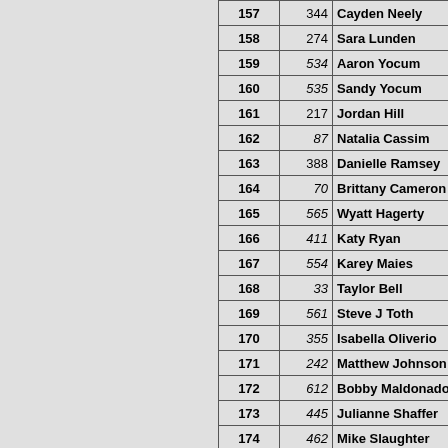| Place | Bib | Name |
| --- | --- | --- |
| 157 | 344 | Cayden Neely |
| 158 | 274 | Sara Lunden |
| 159 | 534 | Aaron Yocum |
| 160 | 535 | Sandy Yocum |
| 161 | 217 | Jordan Hill |
| 162 | 87 | Natalia Cassim |
| 163 | 388 | Danielle Ramsey |
| 164 | 70 | Brittany Cameron |
| 165 | 565 | Wyatt Hagerty |
| 166 | 411 | Katy Ryan |
| 167 | 554 | Karey Maies |
| 168 | 33 | Taylor Bell |
| 169 | 561 | Steve J Toth |
| 170 | 355 | Isabella Oliverio |
| 171 | 242 | Matthew Johnson |
| 172 | 612 | Bobby Maldonado |
| 173 | 445 | Julianne Shaffer |
| 174 | 462 | Mike Slaughter |
| 175 | 98 | Anthony Corwin |
| 176 | 194 | Theresa Halbritter |
| 177 | 172 | Juan P. Gonzalez |
| 178 | 4 | Greta Acklin |